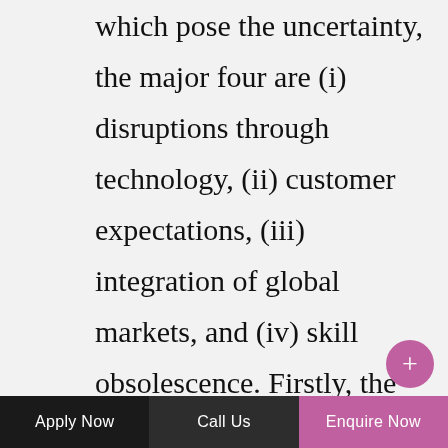which pose the uncertainty, the major four are (i) disruptions through technology, (ii) customer expectations, (iii) integration of global markets, and (iv) skill obsolescence. Firstly, the disruptions due to technological support can make any product redundant overnight. There are host of products which have gone out of market because of such disruptions and the disruptors which have leveraged the technological advancements as the first mover have been the big gainers. Secondly, the customers have become unreasonably demanding and restless. The saying
Apply Now    Call Us    Enquire Now